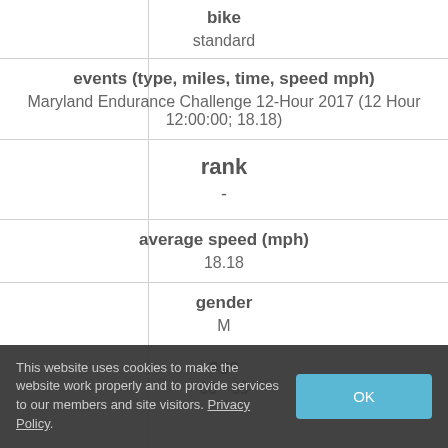| field | value |
| --- | --- |
| bike | standard |
| events (type, miles, time, speed mph) | Maryland Endurance Challenge 12-Hour 2017 (12 Hour   12:00:00; 18.18) |
| rank | - |
| average speed (mph) | 18.18 |
| gender | M |
| age | 60 - 69 |
This website uses cookies to make the website work properly and to provide services to our members and site visitors. Privacy Policy.